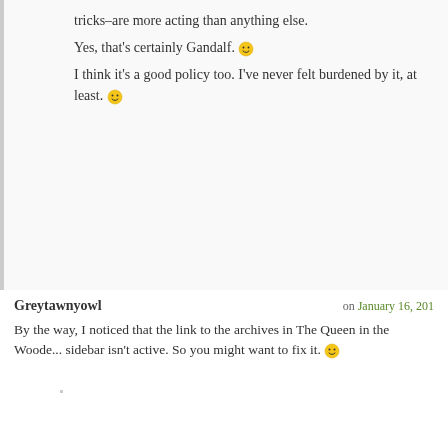tricks–are more acting than anything else.
Yes, that's certainly Gandalf. 🙂
I think it's a good policy too. I've never felt burdened by it, at least. 🙂
Greytawnyowl on January 16, 201...
By the way, I noticed that the link to the archives in The Queen in the Woode... sidebar isn't active. So you might want to fix it. 🙂
Bethany A. Jennings on January 16, 2012
I'm actually not sure how to put an active link in a sidebar box! So that's a... as I cam do it right now. :/
Greytawnyowl on January 16, 2012 a...
It'll be fine, I'm sure. I just wanted to make sure you hadn't missed it. 🙂